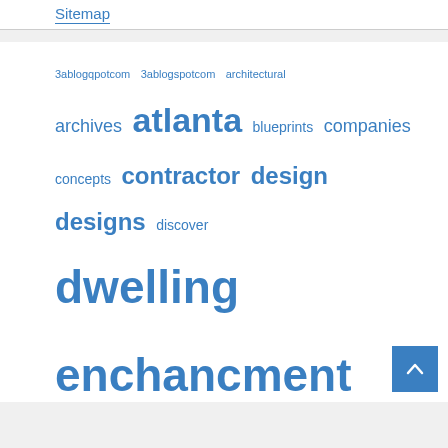Sitemap
[Figure (infographic): Tag cloud with home improvement related keywords in varying font sizes representing frequency/weight. Words include: 3ablogqpotcom, 3ablogspotcom, architectural, archives, atlanta, blueprints, companies, concepts, contractor, design, designs, discover, dwelling, enchancment, enhancements, floor, green, house, houses, ideas, improvement, inexperienced, information, instruments, kitchen, living, methods, online, phrase, plans, providers, questions, renovation, renovations, repair]